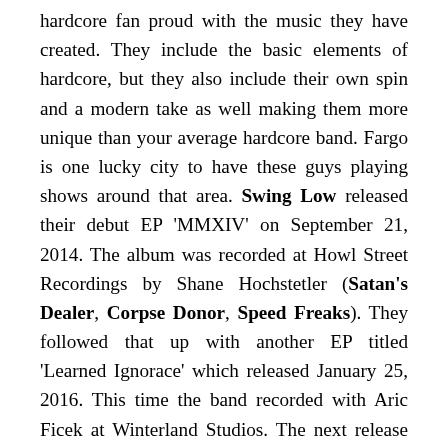hardcore fan proud with the music they have created. They include the basic elements of hardcore, but they also include their own spin and a modern take as well making them more unique than your average hardcore band. Fargo is one lucky city to have these guys playing shows around that area. Swing Low released their debut EP 'MMXIV' on September 21, 2014. The album was recorded at Howl Street Recordings by Shane Hochstetler (Satan's Dealer, Corpse Donor, Speed Freaks). They followed that up with another EP titled 'Learned Ignorace' which released January 25, 2016. This time the band recorded with Aric Ficek at Winterland Studios. The next release by the band came on July 10, 2017 in the form of a split with the band War Prayer. Swing Low contributed two songs to the split including "Malice" and "Regression." When the band was in the studio recording for the split they also recorded an additional track which they held onto for 6 months and released on January 6, 2018. The single was a cover of